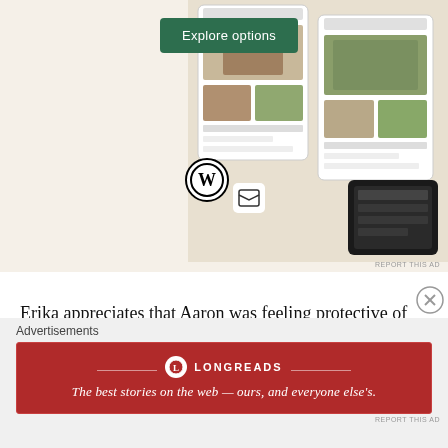[Figure (screenshot): Advertisement showing WordPress website builder with 'Explore options' green button, WordPress logo, and food/recipe website screenshots on the right side]
Erika appreciates that Aaron was feeling protective of his wife, but men communicate differently than women, and the way he was communicating that night was … not good. Very not good.
Denise, who claims to have not heard him, apologizes on his behalf, and insists he would never do anything to be hurtful (… um …) or condescending (LOL, HAVE YOU MET YOUR HUSBAND?). Denise promises he will
Advertisements
[Figure (advertisement): Longreads advertisement: red background with Longreads logo and tagline 'The best stories on the web — ours, and everyone else's.']